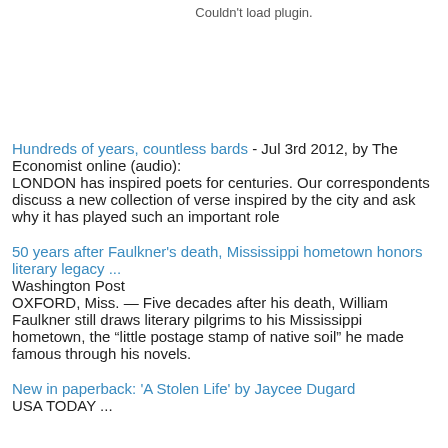Couldn't load plugin.
Hundreds of years, countless bards - Jul 3rd 2012, by The Economist online (audio): LONDON has inspired poets for centuries. Our correspondents discuss a new collection of verse inspired by the city and ask why it has played such an important role
50 years after Faulkner's death, Mississippi hometown honors literary legacy ... Washington Post OXFORD, Miss. — Five decades after his death, William Faulkner still draws literary pilgrims to his Mississippi hometown, the “little postage stamp of native soil” he made famous through his novels.
New in paperback: 'A Stolen Life' by Jaycee Dugard USA TODAY ...